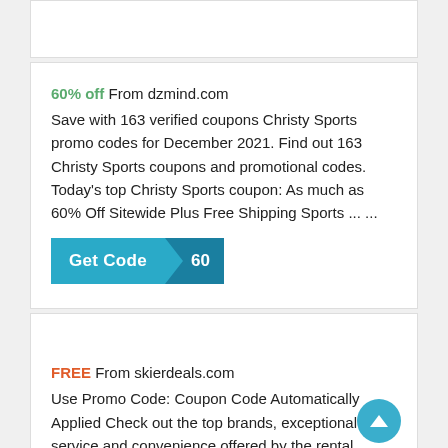60% off From dzmind.com
Save with 163 verified coupons Christy Sports promo codes for December 2021. Find out 163 Christy Sports coupons and promotional codes. Today's top Christy Sports coupon: As much as 60% Off Sitewide Plus Free Shipping Sports ... ...
[Figure (other): Get Code button with code label '60']
FREE From skierdeals.com
Use Promo Code: Coupon Code Automatically Applied Check out the top brands, exceptional service and convenience offered by the rental